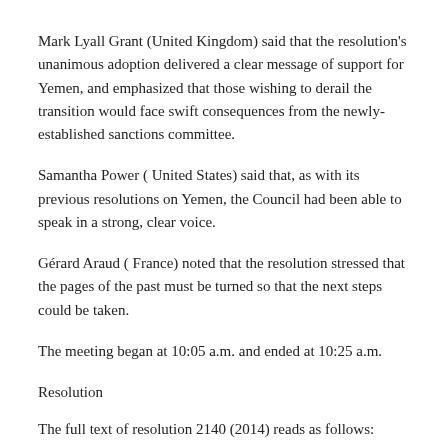Mark Lyall Grant (United Kingdom) said that the resolution's unanimous adoption delivered a clear message of support for Yemen, and emphasized that those wishing to derail the transition would face swift consequences from the newly-established sanctions committee.
Samantha Power ( United States) said that, as with its previous resolutions on Yemen, the Council had been able to speak in a strong, clear voice.
Gérard Araud ( France) noted that the resolution stressed that the pages of the past must be turned so that the next steps could be taken.
The meeting began at 10:05 a.m. and ended at 10:25 a.m.
Resolution
The full text of resolution 2140 (2014) reads as follows:
“The Security Council,